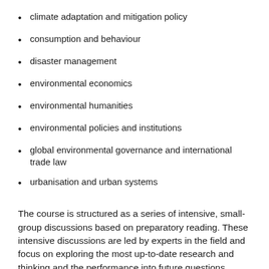climate adaptation and mitigation policy
consumption and behaviour
disaster management
environmental economics
environmental humanities
environmental policies and institutions
global environmental governance and international trade law
urbanisation and urban systems
The course is structured as a series of intensive, small-group discussions based on preparatory reading. These intensive discussions are led by experts in the field and focus on exploring the most up-to-date research and thinking and the performance into future questions